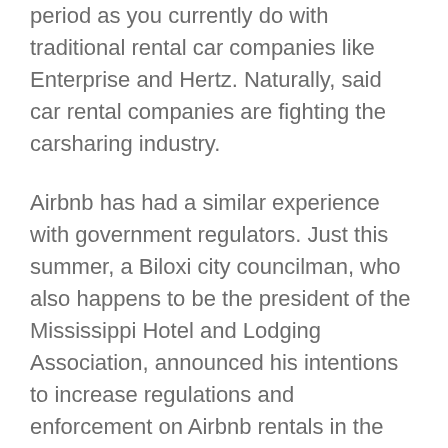period as you currently do with traditional rental car companies like Enterprise and Hertz. Naturally, said car rental companies are fighting the carsharing industry.
Airbnb has had a similar experience with government regulators. Just this summer, a Biloxi city councilman, who also happens to be the president of the Mississippi Hotel and Lodging Association, announced his intentions to increase regulations and enforcement on Airbnb rentals in the Coastal city. The Mississippi Hotel and Lodging Association is the state arm of the national association that has been pushing for homesharing regulations throughout the country.